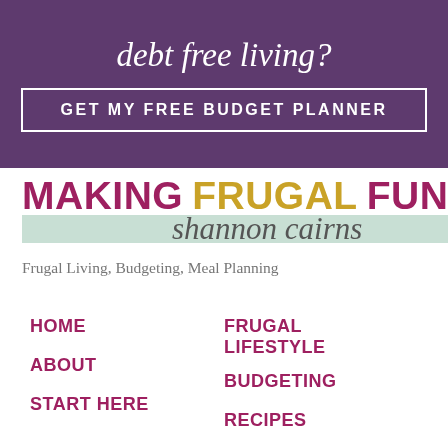debt free living?
GET MY FREE BUDGET PLANNER
[Figure (logo): Making Frugal Fun logo with script text 'shannon cairns' on mint green bar]
Frugal Living, Budgeting, Meal Planning
HOME
ABOUT
START HERE
FRUGAL LIFESTYLE
BUDGETING
RECIPES